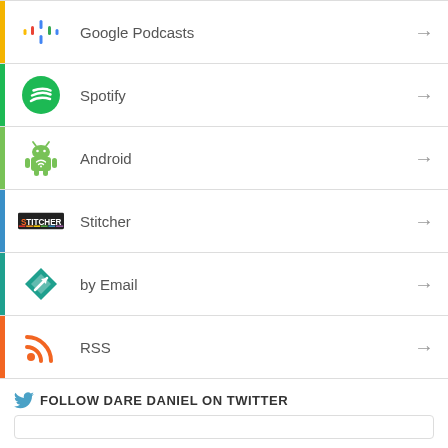Google Podcasts
Spotify
Android
Stitcher
by Email
RSS
FOLLOW DARE DANIEL ON TWITTER